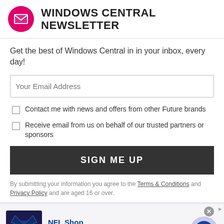WINDOWS CENTRAL NEWSLETTER
Get the best of Windows Central in in your inbox, every day!
Your Email Address
Contact me with news and offers from other Future brands
Receive email from us on behalf of our trusted partners or sponsors
SIGN ME UP
By submitting your information you agree to the Terms & Conditions and Privacy Policy and are aged 16 or over.
[Figure (infographic): NFL Shop advertisement with Dallas Cowboys jersey image, text 'NFL Shop', 'Free shipping on orders over $25', 'www.nflshop.com', and a blue arrow button]